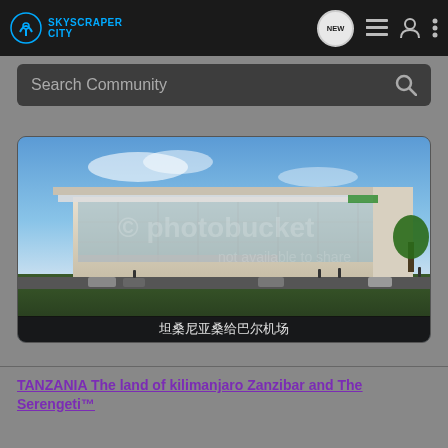SKYSCRAPER CITY
Search Community
[Figure (photo): Architectural rendering of a modern airport terminal building with glass facade, blue sky background, and parked cars in foreground. Chinese text caption reads: 坦桑尼亚桑给巴尔机场]
坦桑尼亚桑给巴尔机场
TANZANIA The land of kilimanjaro Zanzibar and The Serengeti™